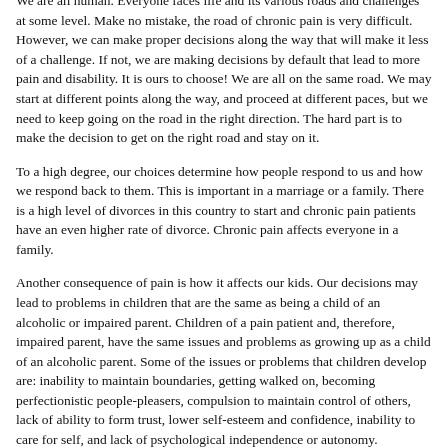one's situation or accept the job of taking action is not tolerable. I can do nothing with patients who enjoy being victims!
We are all human. Everyone faces life and its various roads and challenges at some level. Make no mistake, the road of chronic pain is very difficult. However, we can make proper decisions along the way that will make it less of a challenge. If not, we are making decisions by default that lead to more pain and disability. It is ours to choose! We are all on the same road. We may start at different points along the way, and proceed at different paces, but we need to keep going on the road in the right direction. The hard part is to make the decision to get on the right road and stay on it.
To a high degree, our choices determine how people respond to us and how we respond back to them. This is important in a marriage or a family. There is a high level of divorces in this country to start and chronic pain patients have an even higher rate of divorce. Chronic pain affects everyone in a family.
Another consequence of pain is how it affects our kids. Our decisions may lead to problems in children that are the same as being a child of an alcoholic or impaired parent. Children of a pain patient and, therefore, impaired parent, have the same issues and problems as growing up as a child of an alcoholic parent. Some of the issues or problems that children develop are: inability to maintain boundaries, getting walked on, becoming perfectionistic people-pleasers, compulsion to maintain control of others, lack of ability to form trust, lower self-esteem and confidence, inability to care for self, and lack of psychological independence or autonomy.
These are common and predictable problems that need to be addressed!